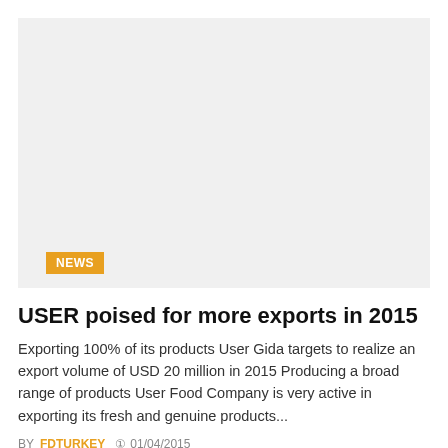[Figure (photo): Large grey placeholder image area with a NEWS badge label in orange at the bottom left]
USER poised for more exports in 2015
Exporting 100% of its products User Gida targets to realize an export volume of USD 20 million in 2015 Producing a broad range of products User Food Company is very active in exporting its fresh and genuine products...
BY FDTURKEY  01/04/2015